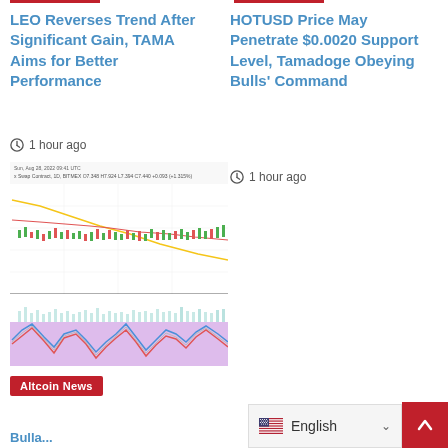LEO Reverses Trend After Significant Gain, TAMA Aims for Better Performance
1 hour ago
[Figure (continuous-plot): Cryptocurrency price chart showing candlestick price action with moving averages (yellow and red lines) and a volume sub-chart, plus an oscillator indicator below with blue and red oscillating lines on a purple shaded background. Chart header shows: Sun, Aug 28, 2022 09:41 UTC, x Swap Contract, 1D, BITMEX O7.348 H7.924 L7.394 C7.440 +0.093 (+1.315%)]
Altcoin News
HOTUSD Price May Penetrate $0.0020 Support Level, Tamadoge Obeying Bulls' Command
1 hour ago
English